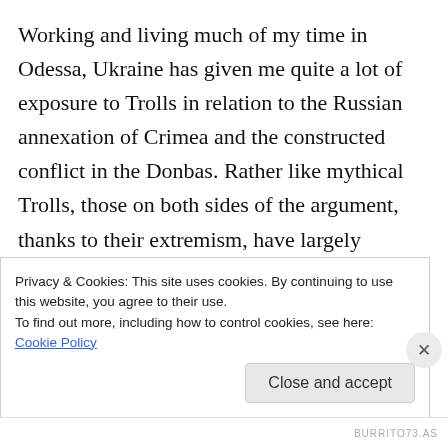Working and living much of my time in Odessa, Ukraine has given me quite a lot of exposure to Trolls in relation to the Russian annexation of Crimea and the constructed conflict in the Donbas. Rather like mythical Trolls, those on both sides of the argument, thanks to their extremism, have largely brought themselves pretty much to a rock-hard standstill (though an occasional insight does emerge from the slanging matches). This reflects the point that social media types tend to join groups and
Privacy & Cookies: This site uses cookies. By continuing to use this website, you agree to their use.
To find out more, including how to control cookies, see here: Cookie Policy
Close and accept
BURRITO73.AS